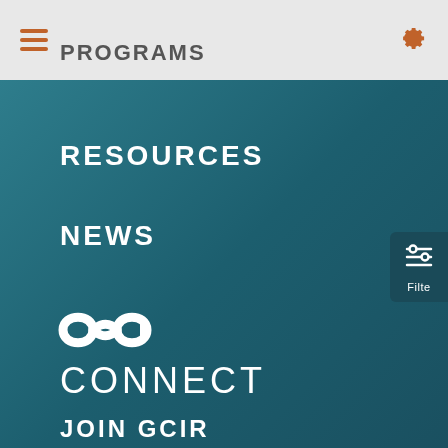PROGRAMS
RESOURCES
NEWS
[Figure (logo): CONNECT icon — circular infinity/link symbol in white]
CONNECT
JOIN GCIR